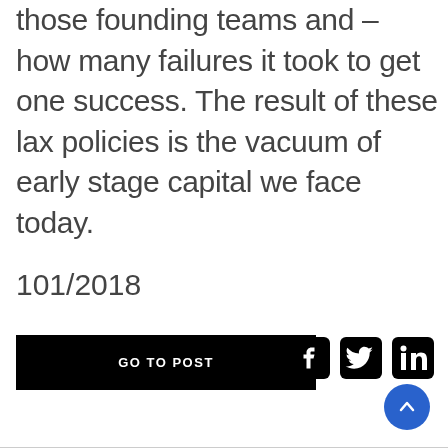those founding teams and – how many failures it took to get one success. The result of these lax policies is the vacuum of early stage capital we face today.
101/2018
GO TO POST
[Figure (illustration): Social media share icons: Facebook, Twitter, LinkedIn]
[Figure (illustration): Scroll to top button, circular blue button with upward chevron]